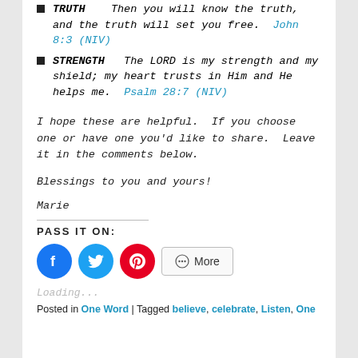TRUTH   Then you will know the truth, and the truth will set you free.  John 8:3 (NIV)
STRENGTH   The LORD is my strength and my shield; my heart trusts in Him and He helps me.  Psalm 28:7 (NIV)
I hope these are helpful.  If you choose one or have one you’d like to share.  Leave it in the comments below.
Blessings to you and yours!
Marie
PASS IT ON:
[Figure (infographic): Social share buttons: Facebook (blue circle), Twitter (cyan circle), Pinterest (red circle), and a More button with share icon]
Loading...
Posted in One Word | Tagged believe, celebrate, Listen, One